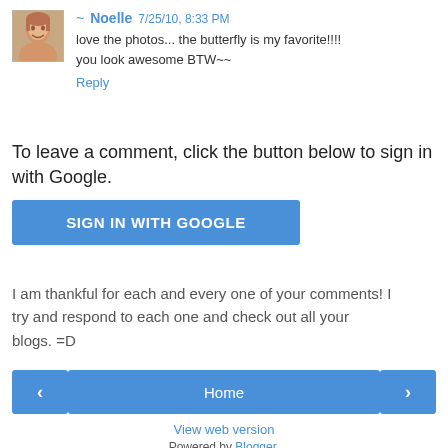[Figure (photo): Small square profile photo of a woman with short hair]
~ Noelle  7/25/10, 8:33 PM
love the photos... the butterfly is my favorite!!!!
you look awesome BTW~~
Reply
To leave a comment, click the button below to sign in with Google.
SIGN IN WITH GOOGLE
I am thankful for each and every one of your comments! I try and respond to each one and check out all your blogs. =D
‹
Home
›
View web version
Powered by Blogger.